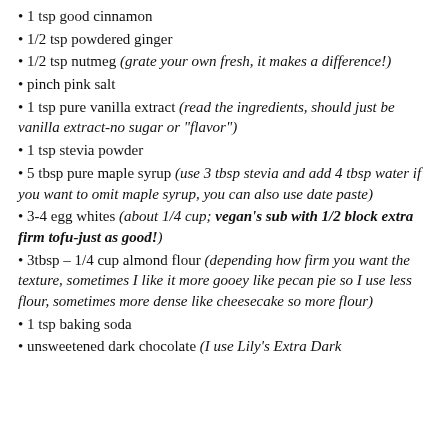1 tsp good cinnamon
1/2 tsp powdered ginger
1/2 tsp nutmeg (grate your own fresh, it makes a difference!)
pinch pink salt
1 tsp pure vanilla extract (read the ingredients, should just be vanilla extract-no sugar or "flavor")
1 tsp stevia powder
5 tbsp pure maple syrup (use 3 tbsp stevia and add 4 tbsp water if you want to omit maple syrup, you can also use date paste)
3-4 egg whites (about 1/4 cup; vegan's sub with 1/2 block extra firm tofu-just as good!)
3tbsp - 1/4 cup almond flour (depending how firm you want the texture, sometimes I like it more gooey like pecan pie so I use less flour, sometimes more dense like cheesecake so more flour)
1 tsp baking soda
unsweetened dark chocolate (I use Lily's Extra Dark